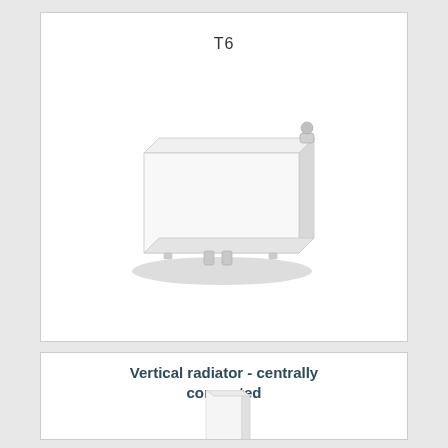T6
[Figure (photo): Horizontal panel radiator shown in perspective view with valve on top-right side and connections at bottom center, with shadow beneath]
Vertical radiator - centrally connected
[Figure (photo): Vertical panel radiator shown partially, tall and narrow white panel]